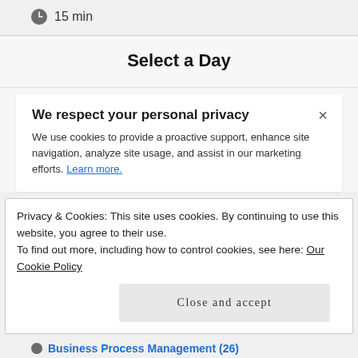15 min
Select a Day
We respect your personal privacy
We use cookies to provide a proactive support, enhance site navigation, analyze site usage, and assist in our marketing efforts. Learn more.
Privacy & Cookies: This site uses cookies. By continuing to use this website, you agree to their use.
To find out more, including how to control cookies, see here: Our Cookie Policy
Close and accept
Business Process Management (26)